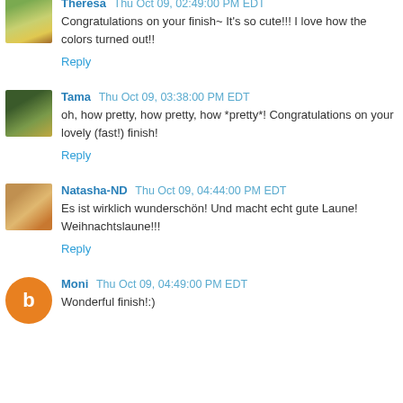Theresa Thu Oct 09, 02:49:00 PM EDT
Congratulations on your finish~ It's so cute!!! I love how the colors turned out!!
Reply
Tama Thu Oct 09, 03:38:00 PM EDT
oh, how pretty, how pretty, how *pretty*! Congratulations on your lovely (fast!) finish!
Reply
Natasha-ND Thu Oct 09, 04:44:00 PM EDT
Es ist wirklich wunderschön! Und macht echt gute Laune! Weihnachtslaune!!!
Reply
Moni Thu Oct 09, 04:49:00 PM EDT
Wonderful finish!:)